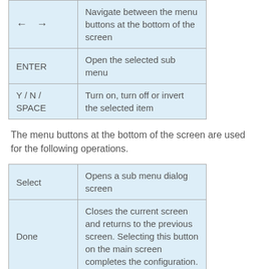| Key | Action |
| --- | --- |
| ← → | Navigate between the menu buttons at the bottom of the screen |
| ENTER | Open the selected sub menu |
| Y / N / SPACE | Turn on, turn off or invert the selected item |
The menu buttons at the bottom of the screen are used for the following operations.
| Button | Action |
| --- | --- |
| Select | Opens a sub menu dialog screen |
| Done | Closes the current screen and returns to the previous screen. Selecting this button on the main screen completes the configuration. |
|  | Displays help for the |